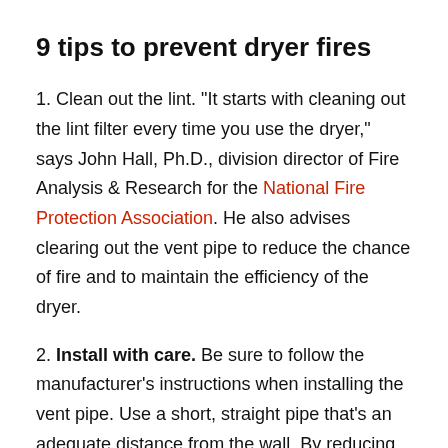9 tips to prevent dryer fires
1. Clean out the lint. “It starts with cleaning out the lint filter every time you use the dryer,” says John Hall, Ph.D., division director of Fire Analysis & Research for the National Fire Protection Association. He also advises clearing out the vent pipe to reduce the chance of fire and to maintain the efficiency of the dryer.
2. Install with care. Be sure to follow the manufacturer’s instructions when installing the vent pipe. Use a short, straight pipe that’s an adequate distance from the wall. By reducing the bends in the dryer vent pipe, it creates fewer opportunities for lint to gather. If you have to vent